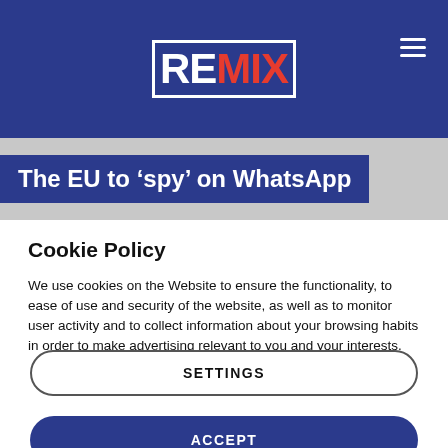[Figure (logo): REMIX news logo in white and red on dark blue header bar with hamburger menu icon]
The EU to ‘spy’ on WhatsApp
Cookie Policy
We use cookies on the Website to ensure the functionality, to ease of use and security of the website, as well as to monitor user activity and to collect information about your browsing habits in order to make advertising relevant to you and your interests.
Clicking on "Accept" you can allow all cookies. If you would like to reject or customize, please click on "Settings".
Read more: Cookie Policy
SETTINGS
ACCEPT